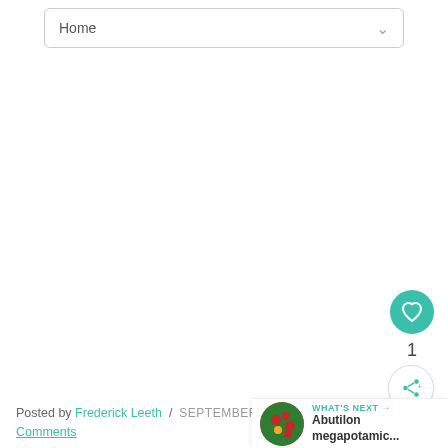Home
[Figure (other): Like button (heart icon) circular teal button]
1
[Figure (other): Share button circular white button with share icon]
Posted by Frederick Leeth / SEPTEMBER 21, 20... Comments
WHAT'S NEXT → Abutilon megapotamic...